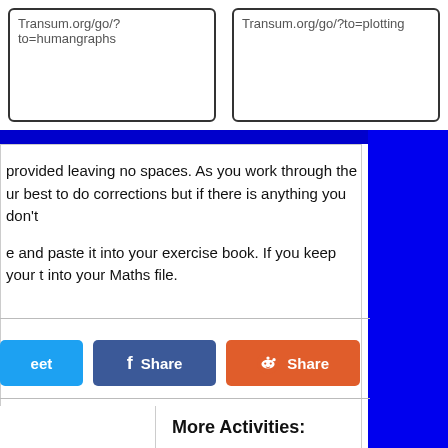Transum.org/go/?to=humangraphs
Transum.org/go/?to=plotting
provided leaving no spaces. As you work through the ur best to do corrections but if there is anything you don't
e and paste it into your exercise book. If you keep your t into your Maths file.
[Figure (screenshot): Social share buttons: Tweet (blue), Share on Facebook (dark blue), Share on Reddit (orange)]
More Activities: